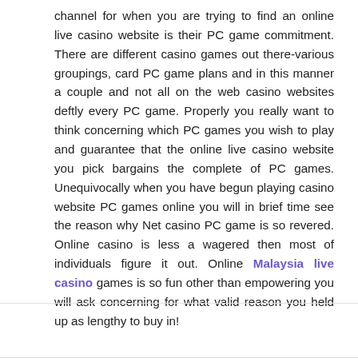channel for when you are trying to find an online live casino website is their PC game commitment. There are different casino games out there-various groupings, card PC game plans and in this manner a couple and not all on the web casino websites deftly every PC game. Properly you really want to think concerning which PC games you wish to play and guarantee that the online live casino website you pick bargains the complete of PC games. Unequivocally when you have begun playing casino website PC games online you will in brief time see the reason why Net casino PC game is so revered. Online casino is less a wagered then most of individuals figure it out. Online Malaysia live casino games is so fun other than empowering you will ask concerning for what valid reason you held up as lengthy to buy in!